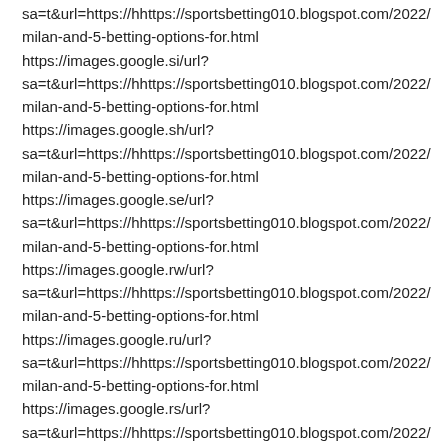sa=t&url=https://hhttps://sportsbetting010.blogspot.com/2022/ milan-and-5-betting-options-for.html https://images.google.si/url? sa=t&url=https://hhttps://sportsbetting010.blogspot.com/2022/ milan-and-5-betting-options-for.html https://images.google.sh/url? sa=t&url=https://hhttps://sportsbetting010.blogspot.com/2022/ milan-and-5-betting-options-for.html https://images.google.se/url? sa=t&url=https://hhttps://sportsbetting010.blogspot.com/2022/ milan-and-5-betting-options-for.html https://images.google.rw/url? sa=t&url=https://hhttps://sportsbetting010.blogspot.com/2022/ milan-and-5-betting-options-for.html https://images.google.ru/url? sa=t&url=https://hhttps://sportsbetting010.blogspot.com/2022/ milan-and-5-betting-options-for.html https://images.google.rs/url? sa=t&url=https://hhttps://sportsbetting010.blogspot.com/2022/ milan-and-5-betting-options-for.html https://images.google.ro/url?